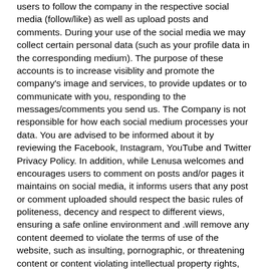users to follow the company in the respective social media (follow/like) as well as upload posts and comments. During your use of the social media we may collect certain personal data (such as your profile data in the corresponding medium). The purpose of these accounts is to increase visiblity and promote the company's image and services, to provide updates or to communicate with you, responding to the messages/comments you send us. The Company is not responsible for how each social medium processes your data. You are advised to be informed about it by reviewing the Facebook, Instagram, YouTube and Twitter Privacy Policy. In addition, while Lenusa welcomes and encourages users to comment on posts and/or pages it maintains on social media, it informs users that any post or comment uploaded should respect the basic rules of politeness, decency and respect to different views, ensuring a safe online environment and .will remove any content deemed to violate the terms of use of the website, such as insulting, pornographic, or threatening content or content violating intellectual property rights, and may block users who violate these terms.